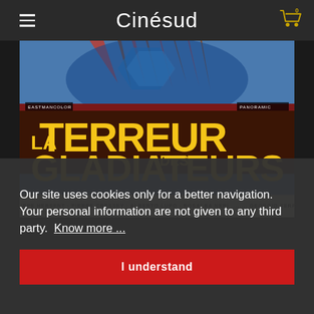Cinésud
[Figure (photo): Movie poster for 'La Terreur des Gladiateurs' showing ancient Roman gladiator imagery with colorful art deco style illustration. Bold yellow text reads 'LA TERREUR DES GLADIATEURS'. Credits at bottom: PHILIPPE HERSENT · PIERRE CRESSEY · ALBERTO LUPO · ROSALBA NERI · GEORGIO FERRONI. Small badges top left 'EASTMANCOLOR' and top right 'PANORAMIC'.]
Our site uses cookies only for a better navigation. Your personal information are not given to any third party. Know more ...
I understand